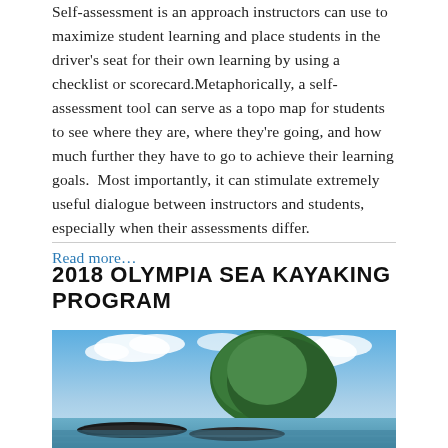Self-assessment is an approach instructors can use to maximize student learning and place students in the driver's seat for their own learning by using a checklist or scorecard. Metaphorically, a self-assessment tool can serve as a topo map for students to see where they are, where they're going, and how much further they have to go to achieve their learning goals.  Most importantly, it can stimulate extremely useful dialogue between instructors and students, especially when their assessments differ.
Read more...
2018 OLYMPIA SEA KAYAKING PROGRAM
[Figure (photo): Outdoor photo showing sea kayaks on water with a large green tree and blue sky with clouds in the background.]